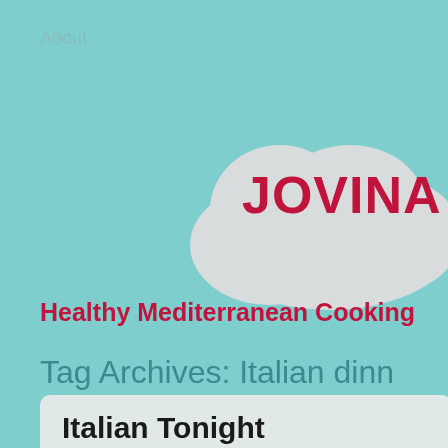About
JOVINA
Healthy Mediterranean Cooking
Tag Archives: Italian dinr
Italian Tonight
April 26, 2019